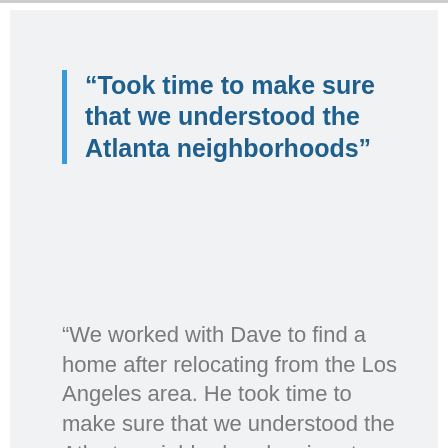“Took time to make sure that we understood the Atlanta neighborhoods”
“We worked with Dave to find a home after relocating from the Los Angeles area. He took time to make sure that we understood the Atlanta neighborhoods, airport accessibility, traffic, and other local considerations. In addition